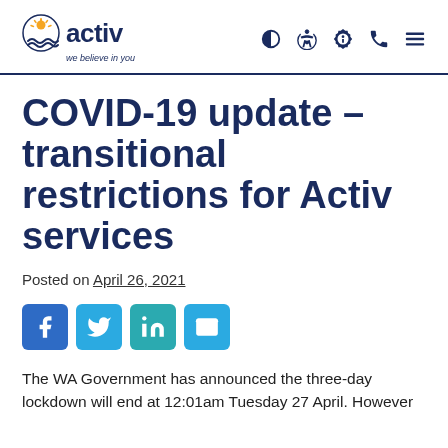activ – we believe in you
COVID-19 update – transitional restrictions for Activ services
Posted on April 26, 2021
[Figure (other): Social share buttons: Facebook, Twitter, LinkedIn, Email]
The WA Government has announced the three-day lockdown will end at 12:01am Tuesday 27 April. However